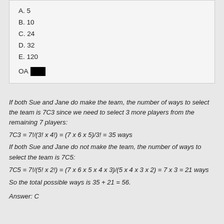A. 5
B. 10
C. 24
D. 32
E. 120
OA [redacted]
If both Sue and Jane do make the team, the number of ways to select the team is 7C3 since we need to select 3 more players from the remaining 7 players:
If both Sue and Jane do not make the team, the number of ways to select the team is 7C5:
So the total possible ways is 35 + 21 = 56.
Answer: C